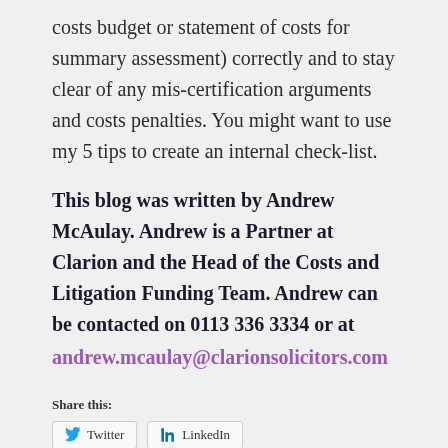costs budget or statement of costs for summary assessment) correctly and to stay clear of any mis-certification arguments and costs penalties. You might want to use my 5 tips to create an internal check-list.
This blog was written by Andrew McAulay. Andrew is a Partner at Clarion and the Head of the Costs and Litigation Funding Team. Andrew can be contacted on 0113 336 3334 or at andrew.mcaulay@clarionsolicitors.com
Share this:
Twitter  LinkedIn